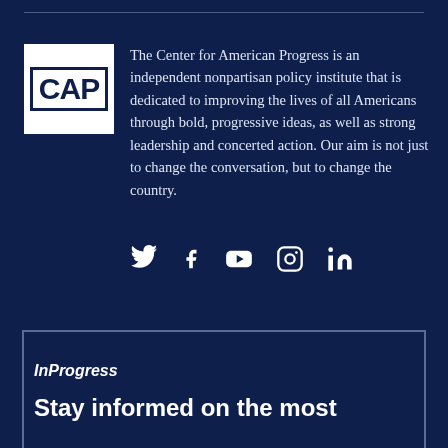[Figure (logo): CAP logo - white square with 'CAP' text in dark navy blue with a border box]
The Center for American Progress is an independent nonpartisan policy institute that is dedicated to improving the lives of all Americans through bold, progressive ideas, as well as strong leadership and concerted action. Our aim is not just to change the conversation, but to change the country.
[Figure (infographic): Social media icons row: Twitter (bird), Facebook (f), YouTube (play button), Instagram (camera), LinkedIn (in)]
InProgress
Stay informed on the most